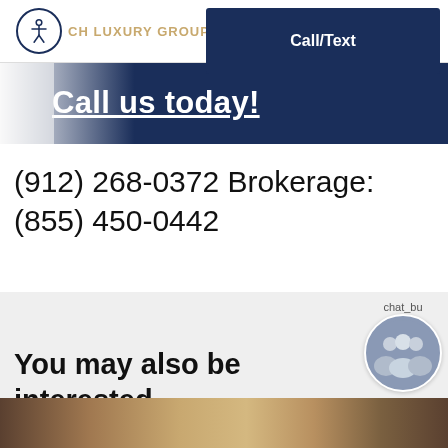CH LUXURY GROUP | Call/Text
[Figure (screenshot): Banner strip with text 'Call us today!' on dark navy background]
(912) 268-0372 Brokerage: (855) 450-0442
You may also be interested
[Figure (photo): Bottom image strip showing people/team photo]